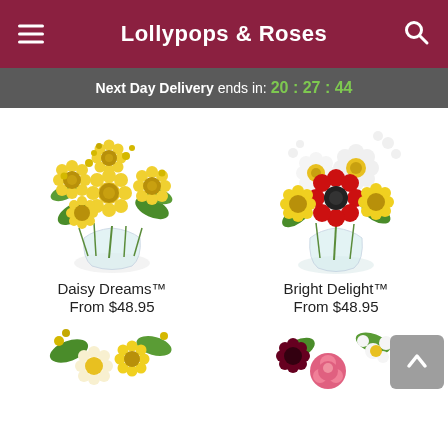Lollypops & Roses
Next Day Delivery ends in: 20:27:44
[Figure (photo): Yellow daisy bouquet in a round glass vase]
[Figure (photo): Mixed bright flower bouquet with red gerbera, white daisies, and yellow flowers in a round glass vase]
Daisy Dreams™
From $48.95
Bright Delight™
From $48.95
[Figure (photo): Partial view of a yellow and white flower arrangement — bottom of page]
[Figure (photo): Partial view of a pink rose and mixed flower arrangement — bottom of page]